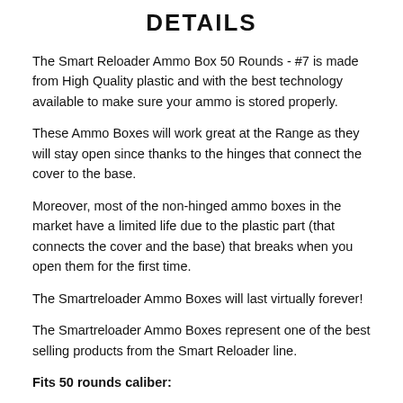DETAILS
The Smart Reloader Ammo Box 50 Rounds - #7 is made from High Quality plastic and with the best technology available to make sure your ammo is stored properly.
These Ammo Boxes will work great at the Range as they will stay open since thanks to the hinges that connect the cover to the base.
Moreover, most of the non-hinged ammo boxes in the market have a limited life due to the plastic part (that connects the cover and the base) that breaks when you open them for the first time.
The Smartreloader Ammo Boxes will last virtually forever!
The Smartreloader Ammo Boxes represent one of the best selling products from the Smart Reloader line.
Fits 50 rounds caliber: